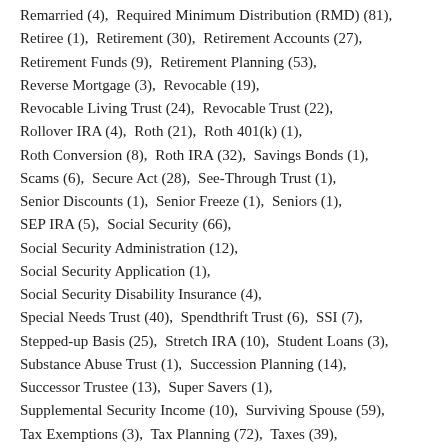Remarried (4),  Required Minimum Distribution (RMD) (81),  Retiree (1),  Retirement (30),  Retirement Accounts (27),  Retirement Funds (9),  Retirement Planning (53),  Reverse Mortgage (3),  Revocable (19),  Revocable Living Trust (24),  Revocable Trust (22),  Rollover IRA (4),  Roth (21),  Roth 401(k) (1),  Roth Conversion (8),  Roth IRA (32),  Savings Bonds (1),  Scams (6),  Secure Act (28),  See-Through Trust (1),  Senior Discounts (1),  Senior Freeze (1),  Seniors (1),  SEP IRA (5),  Social Security (66),  Social Security Administration (12),  Social Security Application (1),  Social Security Disability Insurance (4),  Special Needs Trust (40),  Spendthrift Trust (6),  SSI (7),  Stepped-up Basis (25),  Stretch IRA (10),  Student Loans (3),  Substance Abuse Trust (1),  Succession Planning (14),  Successor Trustee (13),  Super Savers (1),  Supplemental Security Income (10),  Surviving Spouse (59),  Tax Exemptions (3),  Tax Planning (72),  Taxes (39),  Tenancy by the Entirety (6),  Tenancy in Common (6),  Testamentary Trust (10),  Testator (6),  Titling of Assets (7),  TOD (Transfer on Death) (23),  Trademark (1),  Treasury Bond (1),  Trust (58),  Trust Company (2),